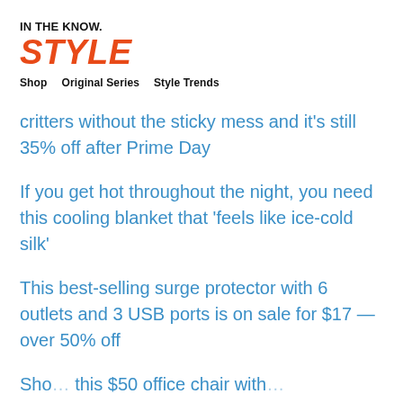IN THE KNOW.
STYLE
Shop   Original Series   Style Trends
critters without the sticky mess and it's still 35% off after Prime Day
If you get hot throughout the night, you need this cooling blanket that 'feels like ice-cold silk'
This best-selling surge protector with 6 outlets and 3 USB ports is on sale for $17 — over 50% off
Sho... this $50 office chair with...